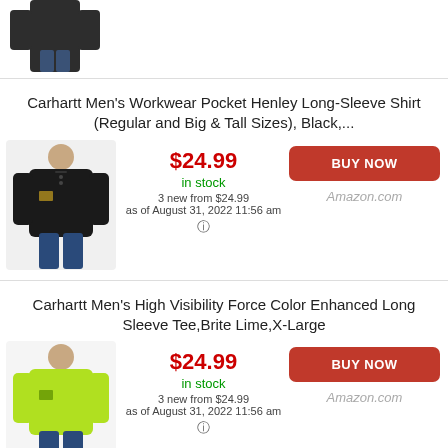[Figure (photo): Partial view of a man wearing a black long-sleeve shirt, cropped at the torso]
Carhartt Men's Workwear Pocket Henley Long-Sleeve Shirt (Regular and Big & Tall Sizes), Black,...
[Figure (photo): Man wearing a black Carhartt henley long-sleeve shirt]
$24.99
in stock
3 new from $24.99
as of August 31, 2022 11:56 am
BUY NOW
Amazon.com
Carhartt Men's High Visibility Force Color Enhanced Long Sleeve Tee,Brite Lime,X-Large
[Figure (photo): Man wearing a bright lime/yellow Carhartt long-sleeve tee]
$24.99
in stock
3 new from $24.99
as of August 31, 2022 11:56 am
BUY NOW
Amazon.com